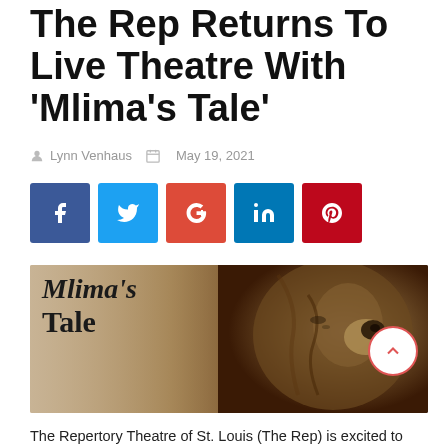The Rep Returns To Live Theatre With 'Mlima's Tale'
Lynn Venhaus   May 19, 2021
[Figure (other): Social media share buttons: Facebook (blue), Twitter (light blue), Google+ (red-orange), LinkedIn (blue), Pinterest (red)]
[Figure (photo): Promotional image for Mlima's Tale showing text 'Mlima's Tale' overlaid on an image combining a person's silhouette profile and an elephant's face close-up]
The Repertory Theatre of St. Louis (The Rep) is excited to